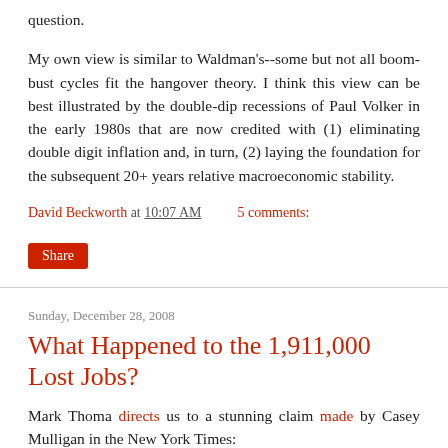question.
My own view is similar to Waldman's--some but not all boom-bust cycles fit the hangover theory. I think this view can be best illustrated by the double-dip recessions of Paul Volker in the early 1980s that are now credited with (1) eliminating double digit inflation and, in turn, (2) laying the foundation for the subsequent 20+ years relative macroeconomic stability.
David Beckworth at 10:07 AM    5 comments:
Share
Sunday, December 28, 2008
What Happened to the 1,911,000 Lost Jobs?
Mark Thoma directs us to a stunning claim made by Casey Mulligan in the New York Times:
[T]he decreased employment is explained more